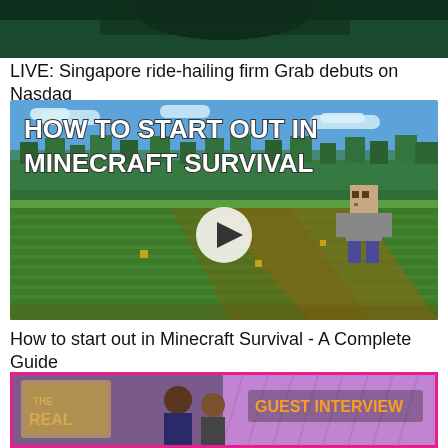[Figure (screenshot): Cropped top portion of a video thumbnail showing a dark green background, partially visible person]
LIVE: Singapore ride-hailing firm Grab debuts on Nasdaq
[Figure (screenshot): Minecraft Survival video thumbnail showing blocky landscape with green hills, trees, blue sky. White bold text reads 'HOW TO START OUT IN MINECRAFT SURVIVAL'. A play button circle in the center. A Minecraft character figure on the right.]
How to start out in Minecraft Survival - A Complete Guide
[Figure (screenshot): TV show 'The Real' guest interview segment. Pink/magenta border. Orange text 'GUEST INTERVIEW' on right side. Gold 'THE REAL' logo on left. Show hosts/guests visible.]